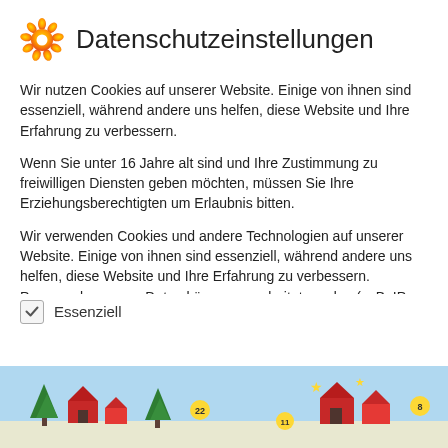Datenschutzeinstellungen
Wir nutzen Cookies auf unserer Website. Einige von ihnen sind essenziell, während andere uns helfen, diese Website und Ihre Erfahrung zu verbessern.
Wenn Sie unter 16 Jahre alt sind und Ihre Zustimmung zu freiwilligen Diensten geben möchten, müssen Sie Ihre Erziehungsberechtigten um Erlaubnis bitten.
Wir verwenden Cookies und andere Technologien auf unserer Website. Einige von ihnen sind essenziell, während andere uns helfen, diese Website und Ihre Erfahrung zu verbessern. Personenbezogene Daten können verarbeitet werden (z. B. IP-Adressen), z. B. für personalisierte Anzeigen und Inhalte oder
Essenziell
Alle akzeptieren
[Figure (illustration): Colorful advent calendar / winter village scene with trees, houses, and stars at the bottom of the page]